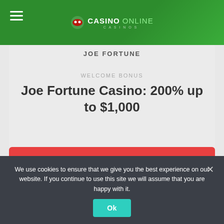CASINO ONLINE
JOE FORTUNE
WELCOME BONUS
Joe Fortune Casino: 200% up to $1,000
GET BONUS
We use cookies to ensure that we give you the best experience on our website. If you continue to use this site we will assume that you are happy with it.
Ok